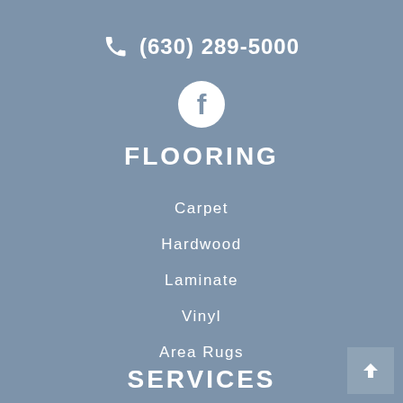(630) 289-5000
[Figure (logo): Facebook icon circle with white F on blue-grey background]
FLOORING
Carpet
Hardwood
Laminate
Vinyl
Area Rugs
SERVICES